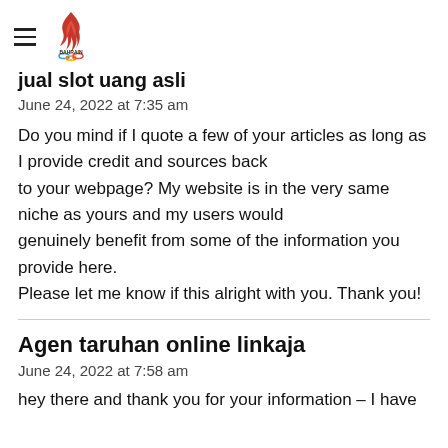Bahrain OOO
jual slot uang asli
June 24, 2022 at 7:35 am
Do you mind if I quote a few of your articles as long as I provide credit and sources back to your webpage? My website is in the very same niche as yours and my users would genuinely benefit from some of the information you provide here.
Please let me know if this alright with you. Thank you!
Agen taruhan online linkaja
June 24, 2022 at 7:58 am
hey there and thank you for your information – I have